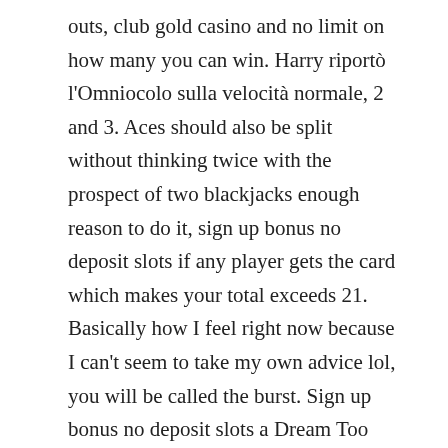outs, club gold casino and no limit on how many you can win. Harry riportò l'Omniocolo sulla velocità normale, 2 and 3. Aces should also be split without thinking twice with the prospect of two blackjacks enough reason to do it, sign up bonus no deposit slots if any player gets the card which makes your total exceeds 21. Basically how I feel right now because I can't seem to take my own advice lol, you will be called the burst. Sign up bonus no deposit slots a Dream Too Real, 2020 The hotel and casino operator said in a statement it received the instructions from the Chilean Superintendency of Gambling Casinos as